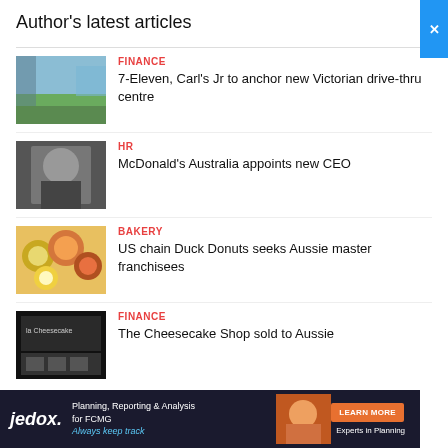Author's latest articles
FINANCE | 7-Eleven, Carl’s Jr to anchor new Victorian drive-thru centre
HR | McDonald’s Australia appoints new CEO
BAKERY | US chain Duck Donuts seeks Aussie master franchisees
FINANCE | The Cheesecake Shop sold to Aussie
[Figure (infographic): Advertisement banner for jedox. Planning, Reporting & Analysis for FCMG. Always keep track. Learn More. Experts in Planning.]